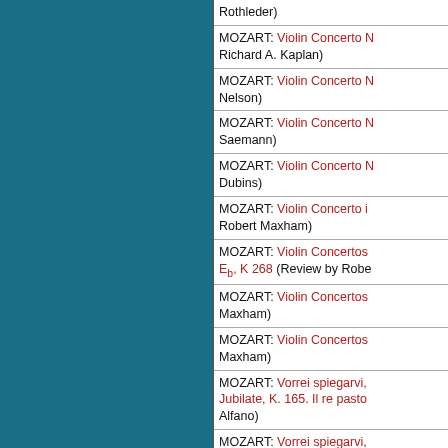MOZART: Violin Concerto N... (Review by Richard A. Kaplan)
MOZART: Violin Concerto N... Nelson)
MOZART: Violin Concerto N... Saemann)
MOZART: Violin Concerto N... Dubins)
MOZART: Violin Concerto i... Robert Maxham)
MOZART: Violin Concertos... Eb, K 268 (Review by Robe...
MOZART: Violin Concertos... Maxham)
MOZART: Violin Concertos... Maxham)
MOZART: Vorrei spiegarvi, Jubilate, K. 165. Il re pasto... Alfano)
MOZART: Vorrei spiegarvi, L'amerò, sarò costante. Ah gioia. Ch'io mi scordi di te . Misera! Dove son? . . . Ah! (Review by Henry Fogel)